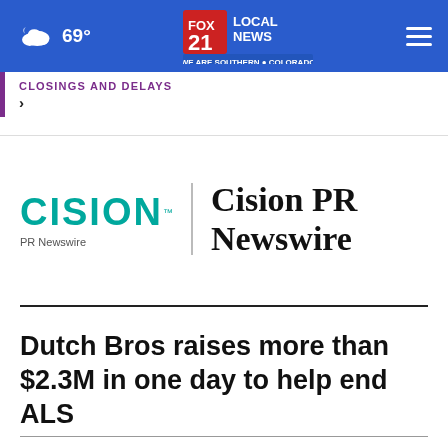69° FOX 21 LOCAL NEWS WE ARE SOUTHERN COLORADO
CLOSINGS AND DELAYS ›
[Figure (logo): Cision PR Newswire logo — teal CISION wordmark with PR Newswire subtitle, vertical divider, and bold serif 'Cision PR Newswire' text]
Dutch Bros raises more than $2.3M in one day to help end ALS